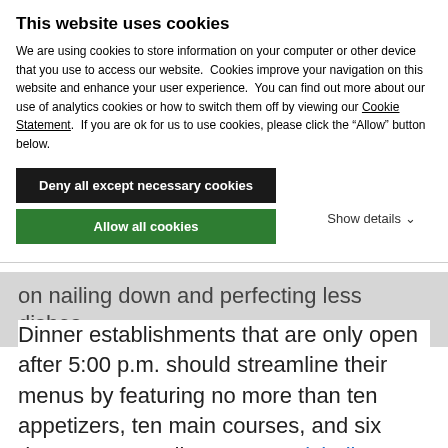This website uses cookies
We are using cookies to store information on your computer or other device that you use to access our website.  Cookies improve your navigation on this website and enhance your user experience.  You can find out more about our use of analytics cookies or how to switch them off by viewing our Cookie Statement.  If you are ok for us to use cookies, please click the “Allow” button below.
Deny all except necessary cookies
Allow all cookies
Show details ⌄
on nailing down and perfecting less dishes.
Dinner establishments that are only open after 5:00 p.m. should streamline their menus by featuring no more than ten appetizers, ten main courses, and six desserts, according to Ezra Eichelberger of the Culinary Institute of